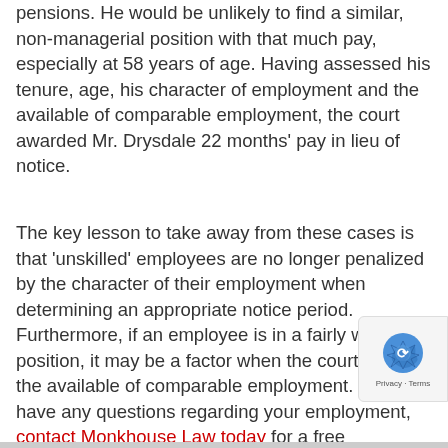pensions. He would be unlikely to find a similar, non-managerial position with that much pay, especially at 58 years of age. Having assessed his tenure, age, his character of employment and the available of comparable employment, the court awarded Mr. Drysdale 22 months' pay in lieu of notice.
The key lesson to take away from these cases is that 'unskilled' employees are no longer penalized by the character of their employment when determining an appropriate notice period. Furthermore, if an employee is in a fairly well paid position, it may be a factor when the courts assess the available of comparable employment. If you have any questions regarding your employment, contact Monkhouse Law today for a free consultation.